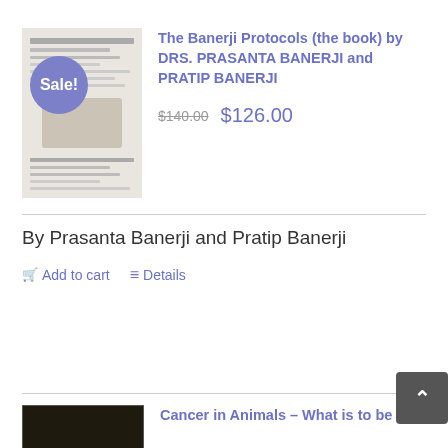[Figure (photo): Book cover image for The Banerji Protocols with a Sale! badge overlay]
The Banerji Protocols (the book) by DRS. PRASANTA BANERJI and PRATIP BANERJI
$140.00 $126.00
By Prasanta Banerji and Pratip Banerji
Add to cart   Details
[Figure (photo): Book cover image for Cancer in Animals – What is to be]
Cancer in Animals – What is to be